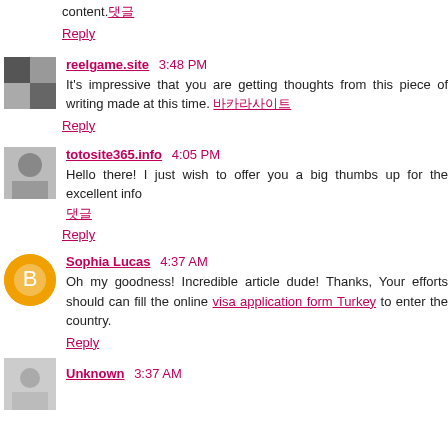content.댓글
Reply
reelgame.site  3:48 PM
It's impressive that you are getting thoughts from this piece of writing made at this time. 바카라사이트
Reply
totosite365.info  4:05 PM
Hello there! I just wish to offer you a big thumbs up for the excellent info 댓글
Reply
Sophia Lucas  4:37 AM
Oh my goodness! Incredible article dude! Thanks, Your efforts should can fill the online visa application form Turkey to enter the country.
Reply
Unknown  3:37 AM